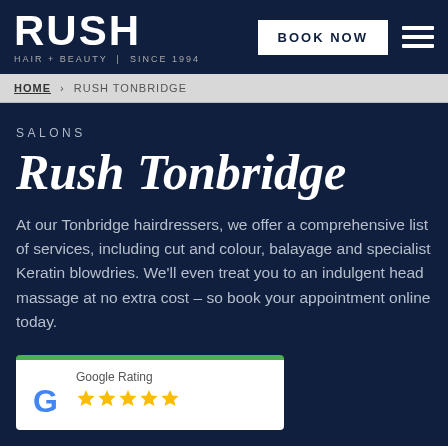RUSH HAIR + BEAUTY | SINCE 1994
HOME › RUSH TONBRIDGE
SALONS
Rush Tonbridge
At our Tonbridge hairdressers, we offer a comprehensive list of services, including cut and colour, balayage and specialist Keratin blowdries. We'll even treat you to an indulgent head massage at no extra cost – so book your appointment online today.
[Figure (logo): Google Rating card with Google logo and five gold stars]